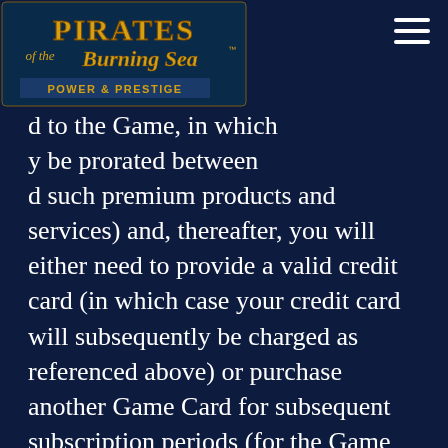[Figure (logo): Pirates of the Burning Sea - Power & Prestige logo, gold text on dark blue/teal background]
d to the Game, in which y be prorated between d such premium products and services) and, thereafter, you will either need to provide a valid credit card (in which case your credit card will subsequently be charged as referenced above) or purchase another Game Card for subsequent subscription periods (for the Game and premium products and services, as applicable), or your Account will be closed. You may terminate your Account at any time through the Account registration process. If you terminate your Account during the initial period of gameplay included with your purchase of the Game Software, if any, your Account will be closed at the end of such initial period of gameplay and